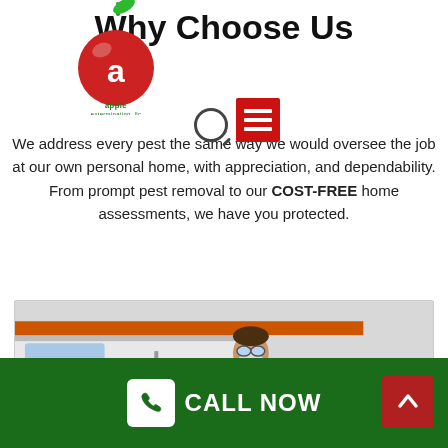apple exterminating, llc
Why Choose Us
We address every pest the same way we would oversee the job at our own personal home, with appreciation, and dependability. From prompt pest removal to our COST-FREE home assessments, we have you protected.
[Figure (photo): Pest control worker in protective mask and uniform standing in front of a white van]
CALL NOW